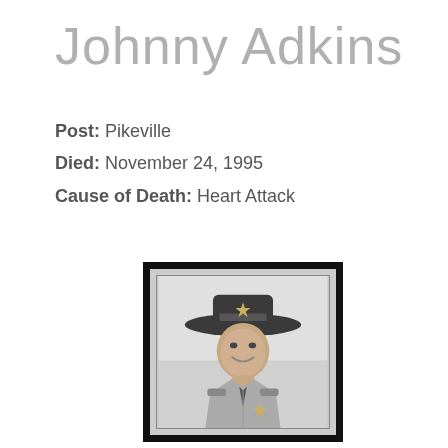Johnny Adkins
Post: Pikeville
Died: November 24, 1995
Cause of Death: Heart Attack
[Figure (photo): Black and white portrait photo of officer Johnny Adkins in uniform wearing a campaign/trooper hat with a badge star, smiling, in a double-bordered frame.]